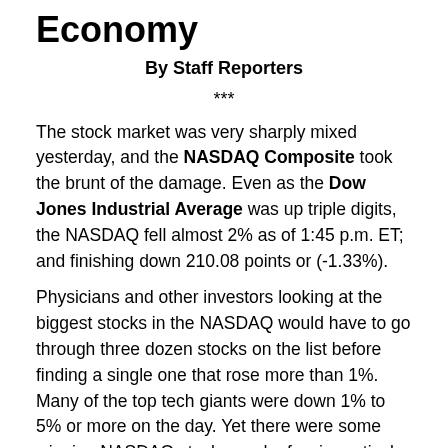Economy
By Staff Reporters
***
The stock market was very sharply mixed yesterday, and the NASDAQ Composite took the brunt of the damage. Even as the Dow Jones Industrial Average was up triple digits, the NASDAQ fell almost 2% as of 1:45 p.m. ET; and finishing down 210.08 points or (-1.33%).
Physicians and other investors looking at the biggest stocks in the NASDAQ would have to go through three dozen stocks on the list before finding a single one that rose more than 1%. Many of the top tech giants were down 1% to 5% or more on the day. Yet there were some winning NASDAQ stocks, and a few in particular might